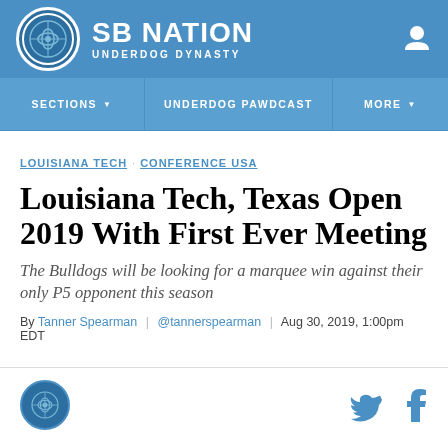SB NATION UNDERDOG DYNASTY
SECTIONS | UNDERDOG PAWDCAST | MORE
LOUISIANA TECH CONFERENCE USA
Louisiana Tech, Texas Open 2019 With First Ever Meeting
The Bulldogs will be looking for a marquee win against their only P5 opponent this season
By Tanner Spearman | @tannerspearman | Aug 30, 2019, 1:00pm EDT